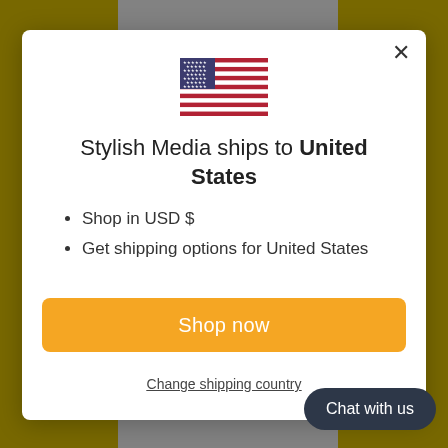[Figure (screenshot): Background showing a yellow/gold website background with a gray product image column and a dimmed overlay]
[Figure (illustration): US flag icon centered at top of modal]
Stylish Media ships to United States
Shop in USD $
Get shipping options for United States
Shop now
Change shipping country
Chat with us